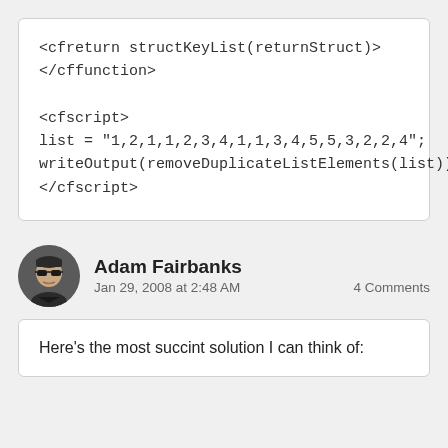<cfreturn structKeyList(returnStruct)>
</cffunction>

<cfscript>
list = "1,2,1,1,2,3,4,1,1,3,4,5,5,3,2,2,4";
writeOutput(removeDuplicateListElements(list))
</cfscript>
Adam Fairbanks
Jan 29, 2008 at 2:48 AM    4 Comments
Here's the most succint solution I can think of: